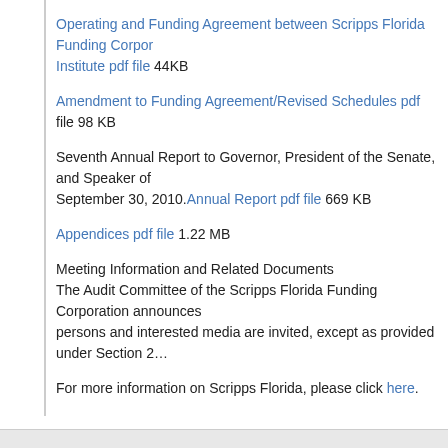Operating and Funding Agreement between Scripps Florida Funding Corporation and The Scripps Research Institute pdf file 44KB
Amendment to Funding Agreement/Revised Schedules pdf file 98 KB
Seventh Annual Report to Governor, President of the Senate, and Speaker of the House of Representatives, September 30, 2010. Annual Report pdf file 669 KB
Appendices pdf file 1.22 MB
Meeting Information and Related Documents
The Audit Committee of the Scripps Florida Funding Corporation announces its public meetings. All persons and interested media are invited, except as provided under Section 2...
For more information on Scripps Florida, please click here.